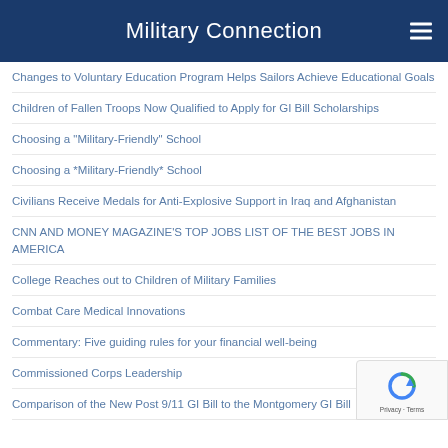Military Connection
Changes to Voluntary Education Program Helps Sailors Achieve Educational Goals
Children of Fallen Troops Now Qualified to Apply for GI Bill Scholarships
Choosing a "Military-Friendly" School
Choosing a *Military-Friendly* School
Civilians Receive Medals for Anti-Explosive Support in Iraq and Afghanistan
CNN AND MONEY MAGAZINE'S TOP JOBS LIST OF THE BEST JOBS IN AMERICA
College Reaches out to Children of Military Families
Combat Care Medical Innovations
Commentary: Five guiding rules for your financial well-being
Commissioned Corps Leadership
Comparison of the New Post 9/11 GI Bill to the Montgomery GI Bill